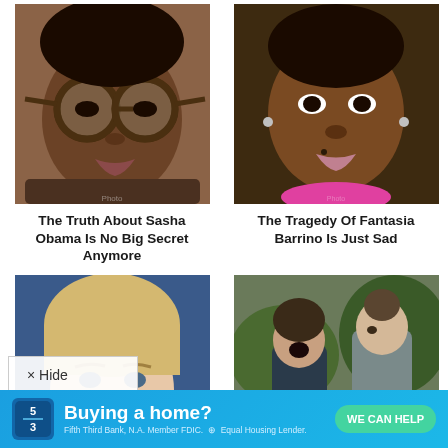[Figure (photo): Close-up portrait of a young Black woman wearing round tortoiseshell glasses]
The Truth About Sasha Obama Is No Big Secret Anymore
[Figure (photo): Close-up portrait of a Black woman with short hair and pink lip gloss, wearing earrings]
The Tragedy Of Fantasia Barrino Is Just Sad
[Figure (photo): Portrait of a middle-aged white woman with short blonde hair smiling]
[Figure (photo): Two people in an outdoor setting, one appearing to yell at the other]
× Hide
Buying a home? WE CAN HELP Fifth Third Bank, N.A. Member FDIC. Equal Housing Lender.